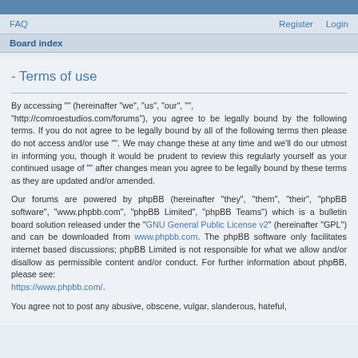FAQ   Register   Login
Board index
- Terms of use
By accessing "" (hereinafter "we", "us", "our", "", "http://comroestudios.com/forums"), you agree to be legally bound by the following terms. If you do not agree to be legally bound by all of the following terms then please do not access and/or use "". We may change these at any time and we'll do our utmost in informing you, though it would be prudent to review this regularly yourself as your continued usage of "" after changes mean you agree to be legally bound by these terms as they are updated and/or amended.
Our forums are powered by phpBB (hereinafter "they", "them", "their", "phpBB software", "www.phpbb.com", "phpBB Limited", "phpBB Teams") which is a bulletin board solution released under the "GNU General Public License v2" (hereinafter "GPL") and can be downloaded from www.phpbb.com. The phpBB software only facilitates internet based discussions; phpBB Limited is not responsible for what we allow and/or disallow as permissible content and/or conduct. For further information about phpBB, please see: https://www.phpbb.com/.
You agree not to post any abusive, obscene, vulgar, slanderous, hateful,